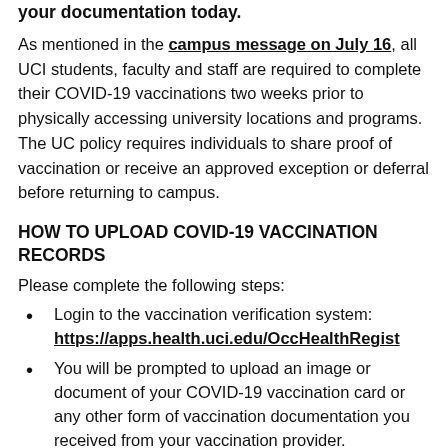your documentation today.
As mentioned in the campus message on July 16, all UCI students, faculty and staff are required to complete their COVID-19 vaccinations two weeks prior to physically accessing university locations and programs. The UC policy requires individuals to share proof of vaccination or receive an approved exception or deferral before returning to campus.
HOW TO UPLOAD COVID-19 VACCINATION RECORDS
Please complete the following steps:
Login to the vaccination verification system: https://apps.health.uci.edu/OccHealthRegist
You will be prompted to upload an image or document of your COVID-19 vaccination card or any other form of vaccination documentation you received from your vaccination provider.
You will also be prompted to input basic information such as date(s) of vaccination(s), manufacturer and lot number(s).
CAMPUS STUDENT EMPLOYEES: Your vaccination